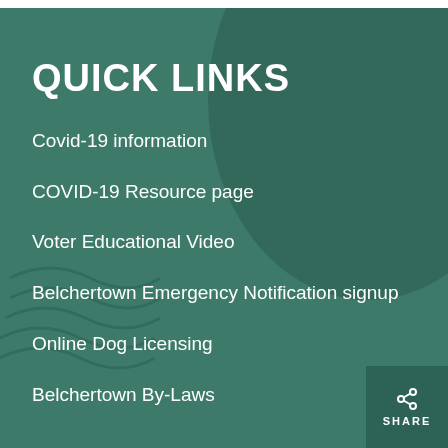QUICK LINKS
Covid-19 information
COVID-19 Resource page
Voter Educational Video
Belchertown Emergency Notification signup
Online Dog Licensing
Belchertown By-Laws